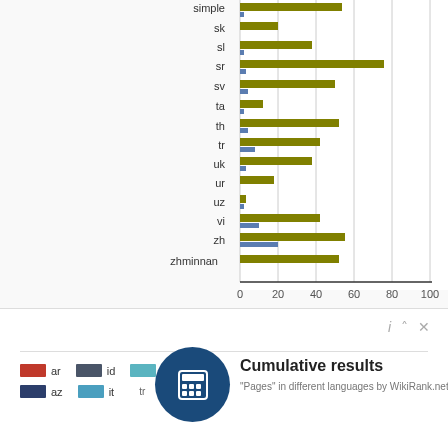[Figure (grouped-bar-chart): Pages in different languages]
Cumulative results
[Figure (infographic): Calculator icon overlay with 'Cumulative results' text and WikiRank.net attribution. Legend showing ar, id, t (blue/teal), az, it, tr language color swatches.]